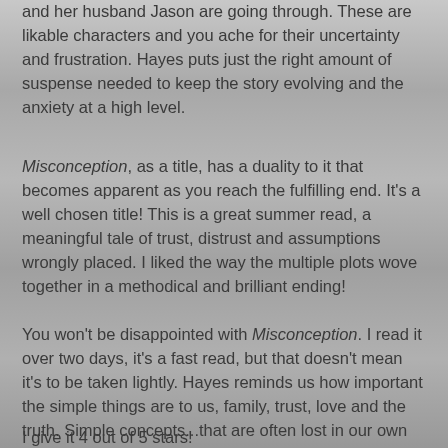and her husband Jason are going through. These are likable characters and you ache for their uncertainty and frustration. Hayes puts just the right amount of suspense needed to keep the story evolving and the anxiety at a high level.
Misconception, as a title, has a duality to it that becomes apparent as you reach the fulfilling end. It's a well chosen title! This is a great summer read, a meaningful tale of trust, distrust and assumptions wrongly placed. I liked the way the multiple plots wove together in a methodical and brilliant ending!
You won't be disappointed with Misconception. I read it over two days, it's a fast read, but that doesn't mean it's to be taken lightly. Hayes reminds us how important the simple things are to us, family, trust, love and the truth. Simple concepts...that are often lost in our own misconceptions.
I give it 4 out of 5 stars!